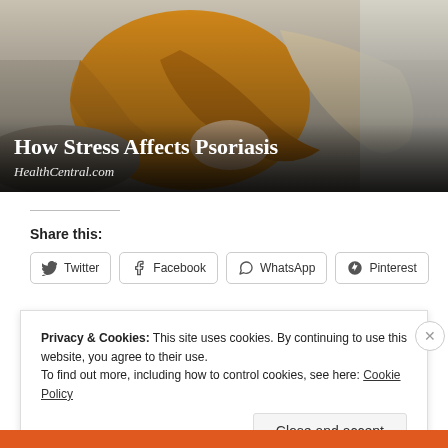[Figure (photo): Woman in yellow knit sweater sitting on a sofa, appearing to examine her arm, suggesting skin condition context. Text overlay shows article title and source.]
How Stress Affects Psoriasis
HealthCentral.com
Share this:
Twitter  Facebook  WhatsApp  Pinterest
Privacy & Cookies: This site uses cookies. By continuing to use this website, you agree to their use.
To find out more, including how to control cookies, see here: Cookie Policy
Close and accept